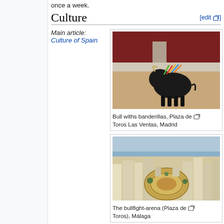once a week.
Culture
Main article: Culture of Spain
[Figure (photo): A black bull with colorful banderillas standing in a sandy bullring arena with red walls in the background]
Bull withs banderillas, Plaza de Toros Las Ventas, Madrid
[Figure (photo): Aerial view of Plaza de Toros bullring arena surrounded by urban buildings with the sea visible in the background, Málaga]
The bullfight-arena (Plaza de Toros), Málaga